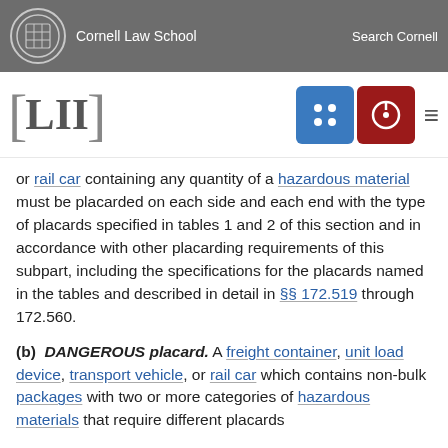Cornell Law School | Search Cornell
[Figure (logo): LII Legal Information Institute logo with Cornell University crest]
or rail car containing any quantity of a hazardous material must be placarded on each side and each end with the type of placards specified in tables 1 and 2 of this section and in accordance with other placarding requirements of this subpart, including the specifications for the placards named in the tables and described in detail in §§ 172.519 through 172.560.
(b) DANGEROUS placard. A freight container, unit load device, transport vehicle, or rail car which contains non-bulk packages with two or more categories of hazardous materials that require different placards